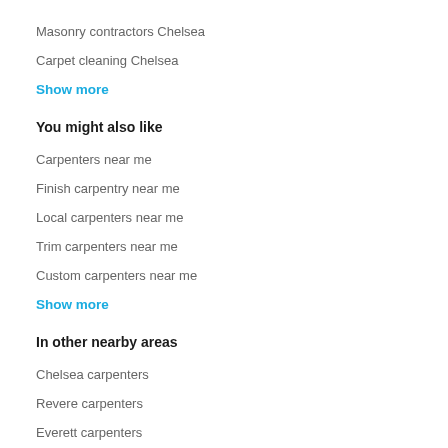Masonry contractors Chelsea
Carpet cleaning Chelsea
Show more
You might also like
Carpenters near me
Finish carpentry near me
Local carpenters near me
Trim carpenters near me
Custom carpenters near me
Show more
In other nearby areas
Chelsea carpenters
Revere carpenters
Everett carpenters